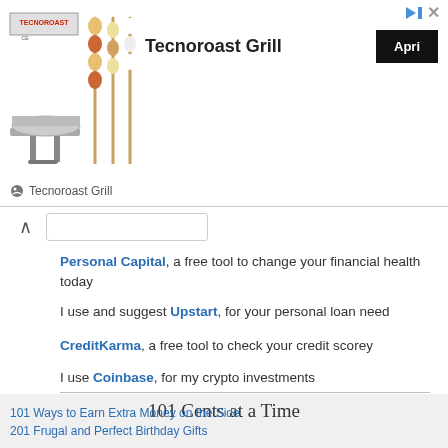[Figure (advertisement): Tecnoroast Grill advertisement banner with product images of grilling equipment and an 'Apri' button]
Personal Capital, a free tool to change your financial health today
I use and suggest Upstart, for your personal loan need
CreditKarma, a free tool to check your credit scorey
I use Coinbase, for my crypto investments
101 Cents at a Time
101 Ways to Earn Extra Money on the Side
201 Frugal and Perfect Birthday Gifts